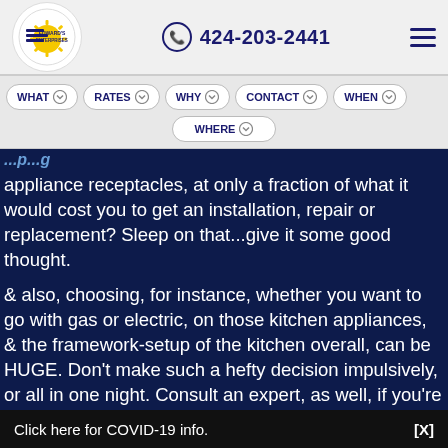[Figure (logo): Edward's Enterprises logo in a circular badge with sun/gear icon]
424-203-2441
Navigation menu: WHAT, RATES, WHY, CONTACT, WHEN, WHERE
appliance receptacles, at only a fraction of what it would cost you to get an installation, repair or replacement? Sleep on that...give it some good thought.
& also, choosing, for instance, whether you want to go with gas or electric, on those kitchen appliances, & the framework-setup of the kitchen overall, can be HUGE. Don't make such a hefty decision impulsively, or all in one night. Consult an expert, as well, if you're having a hard time deciding. A kitchen consultant to review ideas and
Click here for COVID-19 info.
[X]